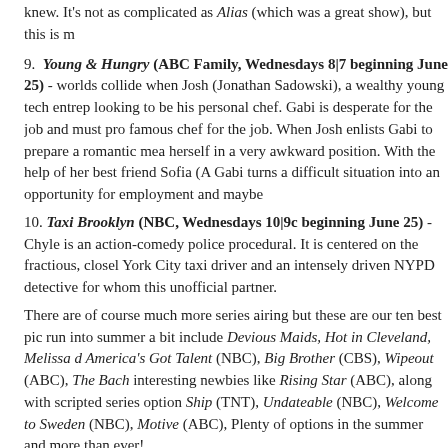knew. It's not as complicated as Alias (which was a great show), but this is m
9. Young & Hungry (ABC Family, Wednesdays 8|7 beginning June 25) - worlds collide when Josh (Jonathan Sadowski), a wealthy young tech entrep looking to be his personal chef. Gabi is desperate for the job and must pro famous chef for the job. When Josh enlists Gabi to prepare a romantic mea herself in a very awkward position. With the help of her best friend Sofia (A Gabi turns a difficult situation into an opportunity for employment and maybe
10. Taxi Brooklyn (NBC, Wednesdays 10|9c beginning June 25) - Chyle is an action-comedy police procedural. It is centered on the fractious, closel York City taxi driver and an intensely driven NYPD detective for whom this unofficial partner.
There are of course much more series airing but these are our ten best pic run into summer a bit include Devious Maids, Hot in Cleveland, Melissa d America's Got Talent (NBC), Big Brother (CBS), Wipeout (ABC), The Bach interesting newbies like Rising Star (ABC), along with scripted series option Ship (TNT), Undateable (NBC), Welcome to Sweden (NBC), Motive (ABC), Plenty of options in the summer and more than ever!
POSTED BY PAVAN -- SITCOMSONLINE.COM AT 3:00 AM
LABELS: COVERT AFFAIRS, JENNIFER FALLS, MISTRESSES, MYSTERY GIRLS
Newer Post | Home